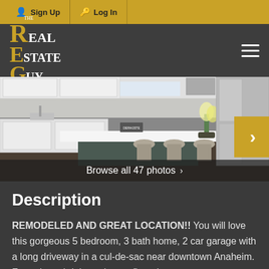Sign Up  Log In
[Figure (logo): The Real Estate Guy logo with gold and white serif lettering on dark background]
[Figure (photo): Interior kitchen photo showing white cabinets, kitchen island with bar stools, stainless appliances and tulip arrangement. Browse all 47 photos navigation overlay.]
Description
REMODELED AND GREAT LOCATION!! You will love this gorgeous 5 bedroom, 3 bath home, 2 car garage with a long driveway in a cul-de-sac near downtown Anaheim. Featuring a bright and open floorplan,